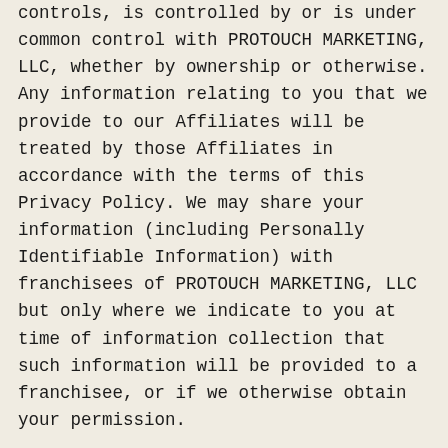controls, is controlled by or is under common control with PROTOUCH MARKETING, LLC, whether by ownership or otherwise. Any information relating to you that we provide to our Affiliates will be treated by those Affiliates in accordance with the terms of this Privacy Policy. We may share your information (including Personally Identifiable Information) with franchisees of PROTOUCH MARKETING, LLC but only where we indicate to you at time of information collection that such information will be provided to a franchisee, or if we otherwise obtain your permission. Laws and Legal Rights. We may also disclose your information (including Personally Identifiable Information) if we believe in good faith that we are required to do so in order to